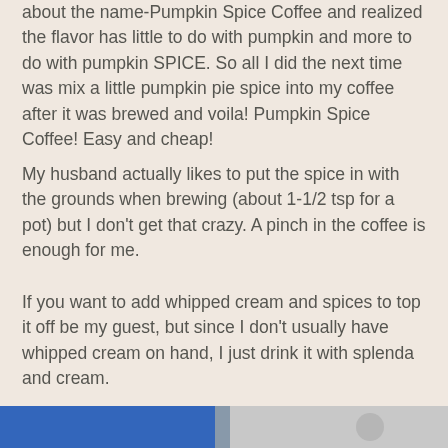about the name-Pumpkin Spice Coffee and realized the flavor has little to do with pumpkin and more to do with pumpkin SPICE. So all I did the next time was mix a little pumpkin pie spice into my coffee after it was brewed and voila! Pumpkin Spice Coffee! Easy and cheap!
My husband actually likes to put the spice in with the grounds when brewing (about 1-1/2 tsp for a pot) but I don't get that crazy. A pinch in the coffee is enough for me.
If you want to add whipped cream and spices to top it off be my guest, but since I don't usually have whipped cream on hand, I just drink it with splenda and cream.
Christine at 2:17 PM    2 comments:
Saturday, October 20, 2007
Product Review-Match and Win Dreamhouse Game
[Figure (photo): Partial image strip at bottom of page, appears to be a product image cut off]